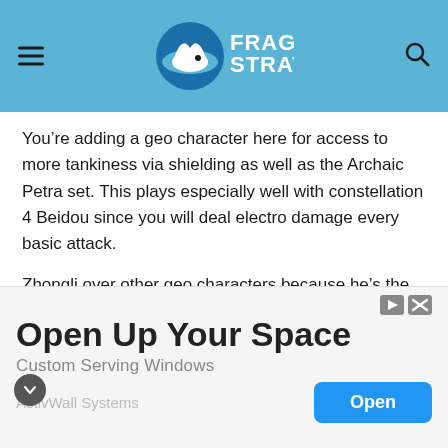FragStrat logo header with menu and search icons
You’re adding a geo character here for access to more tankiness via shielding as well as the Archaic Petra set. This plays especially well with constellation 4 Beidou since you will deal electro damage every basic attack.
Zhongli over other geo characters because he’s the best geo support and provides the massive utility with his petrify. With Fischl, you’re also generating a lot of energy when Oz is up, so if your Zhongli has access to good energy recharge, you can expect to drop his burst pretty often during a skirmish. Fischl is back in this comp to allow you to play more with Beidou burst, while Mona gives you electro charge while also allowing you to
[Figure (screenshot): Advertisement banner: 'Open Up Your Space - Custom Serving Windows - ActivWall Systems' with an Open button]